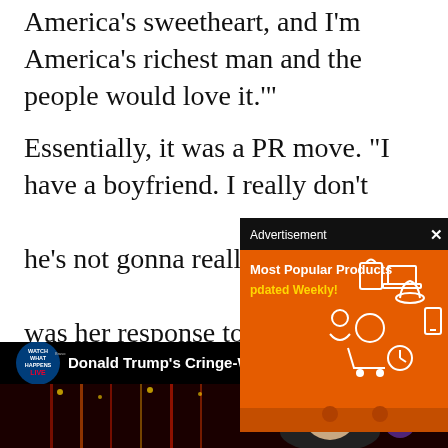America's sweetheart, and I'm America's richest man and the people would love it.'"
Essentially, it was a PR move. “I have a boyfriend. I really don't… he’s not gonna really b… was her response to hi…
[Figure (screenshot): Advertisement overlay with orange background showing 'Most Popular Products Updated Weekly!' with shopping icons, and a black header bar saying 'Advertisement' with an X close button]
[Figure (screenshot): Video embed showing 'Watch What Happens Live' badge and title 'Donald Trump's Cringe-Worthy Att...' with a three-dot menu, on dark background with video thumbnail showing a person]
[Figure (screenshot): Sam's Club advertisement banner in orange showing Tide detergent products with text 'IT'S OUR HOME. LET'S PROTECT IT TOGETHER. Wash in cold. Save up to $150 a year*' and 'SHOP NOW' button]